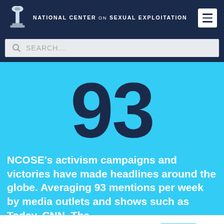NATIONAL CENTER ON SEXUAL EXPLOITATION
SEARCH...
93
NCOSE's activism campaigns and victories have made headlines around the globe. Averaging 93 mentions per week by media outlets and shows such as Today, CNN, The
Defend Dignity. Donate Now.
DONATE